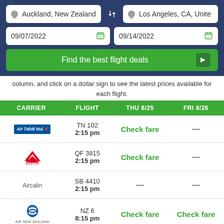[Figure (screenshot): Flight search widget with origin Auckland, New Zealand and destination Los Angeles, CA, United; dates 09/07/2022 and 09/14/2022; Find the best flight deals button]
column, and click on a dollar sign to see the latest prices available for each flight.
| CARRIER | FLIGHT | THU 8/25 | FRI 8/26 |
| --- | --- | --- | --- |
| Air Tahiti Nui | TN 102
2:15 pm | Check fare | — |
| Qantas | QF 3815
2:15 pm | Check fare | — |
| Aircalin | SB 4410
2:15 pm | — | — |
| Air New Zealand | NZ 6
8:15 pm | Check fare | Check fare |